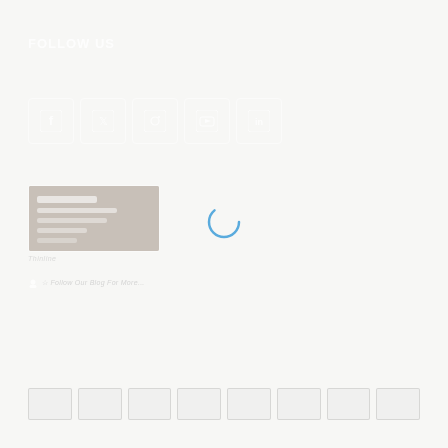FOLLOW US
[Figure (illustration): Row of 5 social media icon buttons (Facebook, Twitter, Instagram, YouTube, LinkedIn) with rounded square borders in white/light style]
[Figure (illustration): Featured article thumbnail block with grey gradient background and placeholder text lines]
Subscribe to Our Blog
[Figure (illustration): Loading spinner - a blue circular arc indicating page loading state]
[Figure (illustration): Bottom strip with multiple small thumbnail/icon boxes representing article or page links]